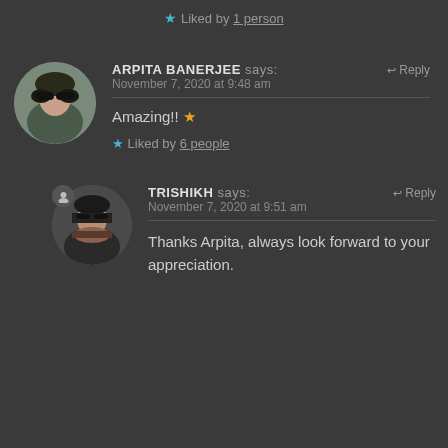★ Liked by 1 person
ARPITA BANERJEE says:  ↩ Reply
November 7, 2020 at 9:48 am
Amazing!! ★
★ Liked by 6 people
TRISHIKH says:  ↩ Reply
November 7, 2020 at 9:51 am
Thanks Arpita, always look forward to your appreciation.